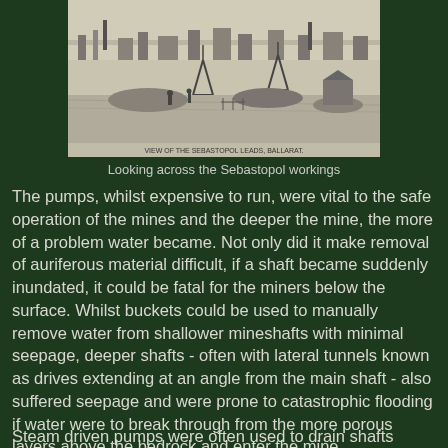[Figure (illustration): Historical engraving/illustration showing an aerial or elevated view of the Sebastopol mine workings, with various industrial structures, mine shafts, headframes, and workers visible in the landscape. Caption text at bottom of image reads 'VIEW OF THE SEBASTOPOL LEADS, BALLARAT.']
Looking across the Sebastopol workings
The pumps, whilst expensive to run, were vital to the safe operation of the mines and the deeper the mine, the more of a problem water became. Not only did it make removal of auriferous material difficult, if a shaft became suddenly inundated, it could be fatal for the miners below the surface. Whilst buckets could be used to manually remove water from shallower mineshafts with minimal seepage, deeper shafts - often with lateral tunnels known as drives extending at an angle from the main shaft - also suffered seepage and were prone to catastrophic flooding if water were to break through from the more porous layers above the bedrock and enter the mine.
Steam driven pumps were often used to drain shafts